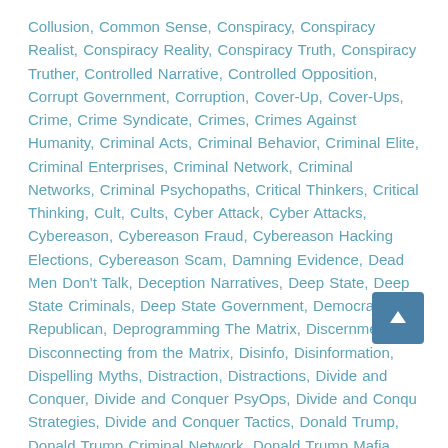Collusion, Common Sense, Conspiracy, Conspiracy Realist, Conspiracy Reality, Conspiracy Truth, Conspiracy Truther, Controlled Narrative, Controlled Opposition, Corrupt Government, Corruption, Cover-Up, Cover-Ups, Crime, Crime Syndicate, Crimes, Crimes Against Humanity, Criminal Acts, Criminal Behavior, Criminal Elite, Criminal Enterprises, Criminal Network, Criminal Networks, Criminal Psychopaths, Critical Thinkers, Critical Thinking, Cult, Cults, Cyber Attack, Cyber Attacks, Cybereason, Cybereason Fraud, Cybereason Hacking Elections, Cybereason Scam, Damning Evidence, Dead Men Don't Talk, Deception Narratives, Deep State, Deep State Criminals, Deep State Government, Democrat / Republican, Deprogramming The Matrix, Discernment, Disconnecting from the Matrix, Disinfo, Disinformation, Dispelling Myths, Distraction, Distractions, Divide and Conquer, Divide and Conquer PsyOps, Divide and Conquer Strategies, Divide and Conquer Tactics, Donald Trump, Donald Trump Criminal Network, Donald Trump Mafia Connections, Election, Election Hacking Conspiracy, Election
[Figure (other): Back to top arrow button (dark blue square with upward white arrow)]